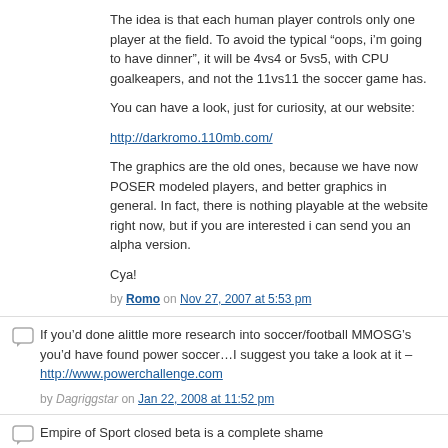The idea is that each human player controls only one player at the field. To avoid the typical “oops, i’m going to have dinner”, it will be 4vs4 or 5vs5, with CPU goalkeapers, and not the 11vs11 the soccer game has.
You can have a look, just for curiosity, at our website:
http://darkromo.110mb.com/
The graphics are the old ones, because we have now POSER modeled players, and better graphics in general. In fact, there is nothing playable at the website right now, but if you are interested i can send you an alpha version.
Cya!
by Romo on Nov 27, 2007 at 5:53 pm
If you’d done alittle more research into soccer/football MMOSG’s you’d have found power soccer…I suggest you take a look at it – http://www.powerchallenge.com
by Dagriggstar on Jan 22, 2008 at 11:52 pm
Empire of Sport closed beta is a complete shame
Its dated has ugly graphics and shit gameplay
Its a big dissapointment so far
We’ll have to wait untill a true sports mmorpg comes along Empire of Sport